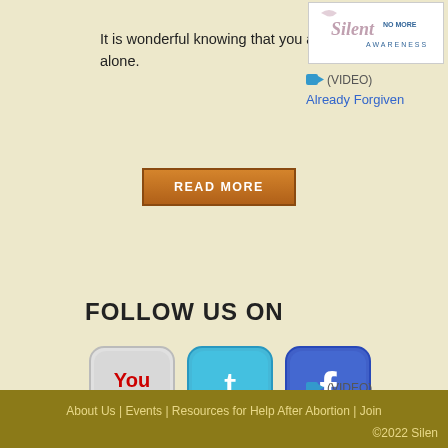It is wonderful knowing that you are not alone.
READ MORE
[Figure (logo): Silent No More Awareness logo with cursive text and tagline]
(VIDEO) Already Forgiven
FOLLOW US ON
[Figure (illustration): YouTube, Twitter, and Facebook social media icon buttons]
(VIDEO) snmstacey
First ... 6 Last
About Us | Events | Resources for Help After Abortion | Join
©2022 Silen